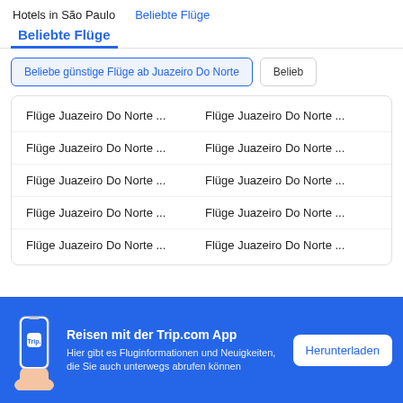Hotels in São Paulo   Beliebte Flüge
Beliebte Flüge
Beliebe günstige Flüge ab Juazeiro Do Norte
Belieb
Flüge Juazeiro Do Norte ...   Flüge Juazeiro Do Norte ...
Flüge Juazeiro Do Norte ...   Flüge Juazeiro Do Norte ...
Flüge Juazeiro Do Norte ...   Flüge Juazeiro Do Norte ...
Flüge Juazeiro Do Norte ...   Flüge Juazeiro Do Norte ...
Flüge Juazeiro Do Norte ...   Flüge Juazeiro Do Norte ...
Reisen mit der Trip.com App
Hier gibt es Fluginformationen und Neuigkeiten, die Sie auch unterwegs abrufen können
Herunterladen